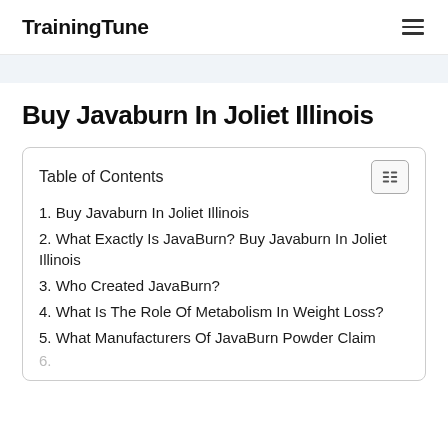TrainingTune
Buy Javaburn In Joliet Illinois
1. Buy Javaburn In Joliet Illinois
2. What Exactly Is JavaBurn? Buy Javaburn In Joliet Illinois
3. Who Created JavaBurn?
4. What Is The Role Of Metabolism In Weight Loss?
5. What Manufacturers Of JavaBurn Powder Claim